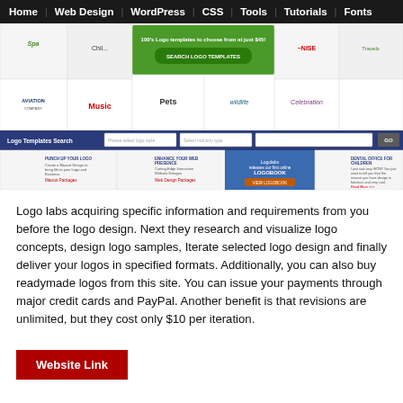Home | Web Design | WordPress | CSS | Tools | Tutorials | Fonts
[Figure (screenshot): Screenshot of Logo Labs website showing logo templates gallery with various logo categories (spa, chile, aviation, music, pets, wildlife, celebration, travels), a logo templates search bar, and promotional banners including Punch Up Your Logo, Enhance Your Web Presence, Logolabs Logobook, and Dental Office for Children sections.]
Logo labs acquiring specific information and requirements from you before the logo design. Next they research and visualize logo concepts, design logo samples, Iterate selected logo design and finally deliver your logos in specified formats. Additionally, you can also buy readymade logos from this site. You can issue your payments through major credit cards and PayPal. Another benefit is that revisions are unlimited, but they cost only $10 per iteration.
Website Link